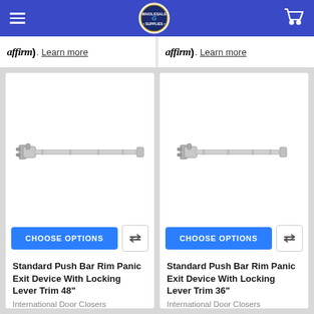[Figure (screenshot): Website navigation bar with hamburger menu, Wholesale Glass Supplies logo, and shopping cart icon on blue background]
affirm). Learn more
affirm). Learn more
[Figure (photo): Standard Push Bar Rim Panic Exit Device with Locking Lever Trim 48 inch - silver metallic hardware]
[Figure (photo): Standard Push Bar Rim Panic Exit Device with Locking Lever Trim 36 inch - silver metallic hardware]
CHOOSE OPTIONS
CHOOSE OPTIONS
Standard Push Bar Rim Panic Exit Device With Locking Lever Trim 48"
Standard Push Bar Rim Panic Exit Device With Locking Lever Trim 36"
International Door Closers
International Door Closers